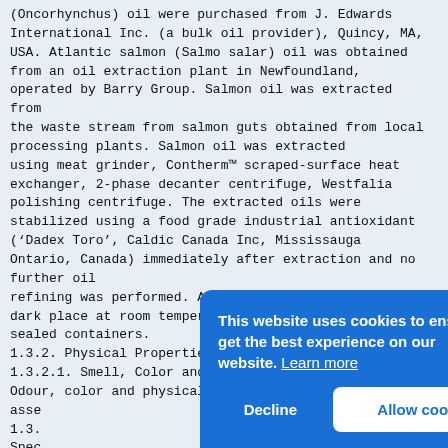(Oncorhynchus) oil were purchased from J. Edwards International Inc. (a bulk oil provider), Quincy, MA, USA. Atlantic salmon (Salmo salar) oil was obtained from an oil extraction plant in Newfoundland, operated by Barry Group. Salmon oil was extracted from
the waste stream from salmon guts obtained from local processing plants. Salmon oil was extracted
using meat grinder, Contherm™ scraped-surface heat exchanger, 2-phase decanter centrifuge, Westfalia polishing centrifuge. The extracted oils were stabilized using a food grade industrial antioxidant ('Dadex Toro', Caldic Canada Inc, Mississauga Ontario, Canada) immediately after extraction and no further oil
refining was performed. All oils were stored in a dark place at room temperature (18-20°C) in tightly sealed containers.
1.3.2. Physical Properties
1.3.2.1. Smell, Color and Physical State
Odour, color and physical state of the oils were asse...
1.3.... Spec... (Mod... Cana...
8
1.3....
The ... test... Inc....
pressure produced after the reaction of trace ...
[Figure (screenshot): Cookie consent banner overlay with blue background. Text reads 'This website uses cookies to ensure you get the best experience on our website. Learn more'. Two buttons: 'Decline' (left, white text on blue) and 'Allow cookies' (right, blue text on white).]